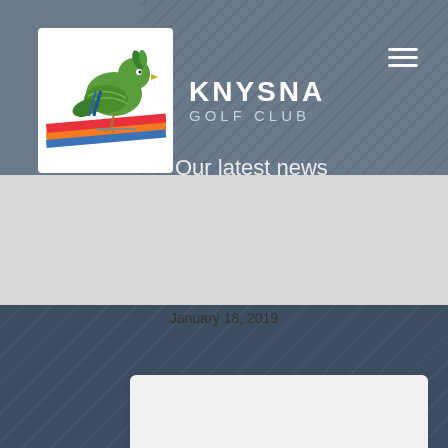[Figure (logo): Knysna Golf Club logo — a stylized green Knysna loerie bird above diagonal colored stripes on white background, with 'KNYSNA GOLF CLUB' text beside it in white on gray nav bar]
Our latest news
January 18, 2019
Sign Up To Our Knysna Golf Club Newsletter
Sign up here